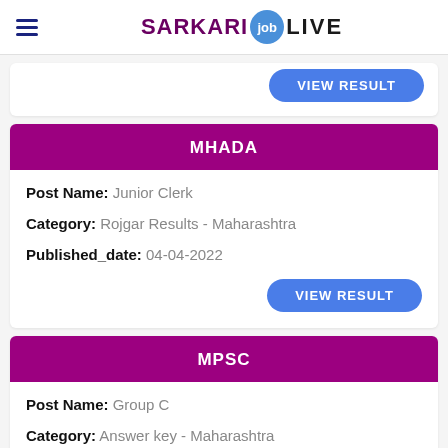SARKARI job LIVE
VIEW RESULT
MHADA
Post Name: Junior Clerk
Category: Rojgar Results - Maharashtra
Published_date: 04-04-2022
VIEW RESULT
MPSC
Post Name: Group C
Category: Answer key - Maharashtra
Published_date: 04-04-2022